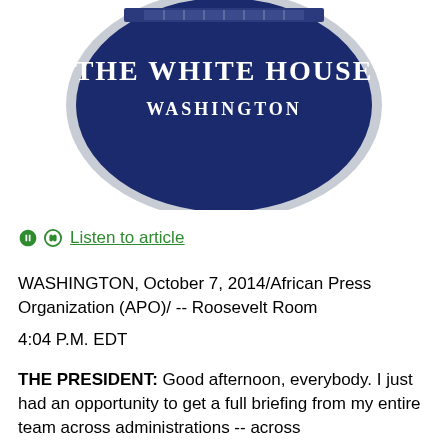[Figure (logo): White House seal — circular dark navy blue emblem with text 'THE WHITE HOUSE' and 'WASHINGTON' in white letters, with decorative border and eagle imagery at top]
🎧 Listen to article
WASHINGTON, October 7, 2014/African Press Organization (APO)/ -- Roosevelt Room
4:04 P.M. EDT
THE PRESIDENT: Good afternoon, everybody. I just had an opportunity to get a full briefing from my entire team across administrations -- across